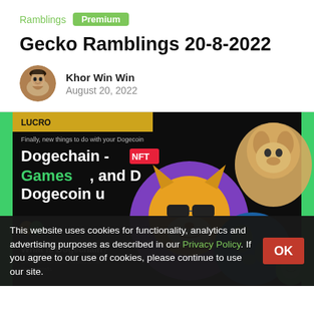Ramblings  Premium
Gecko Ramblings 20-8-2022
Khor Win Win
August 20, 2022
[Figure (screenshot): Dogechain promotional image showing NFT, Games, and Dogecoin usage with stylized Shiba dog mascot in purple circle, real Doge dog in background, Earth globe, and CoinGecko gecko logo.]
This website uses cookies for functionality, analytics and advertising purposes as described in our Privacy Policy. If you agree to our use of cookies, please continue to use our site.